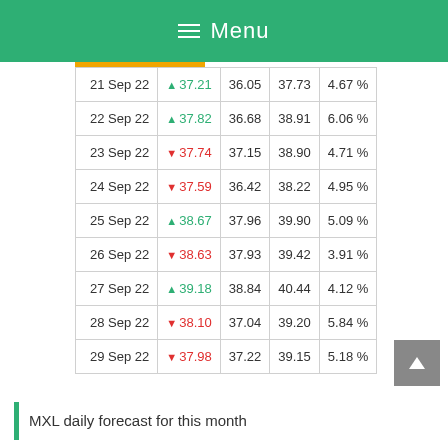Menu
| Date | Price | Low | High | Change |
| --- | --- | --- | --- | --- |
| 21 Sep 22 | ▲ 37.21 | 36.05 | 37.73 | 4.67 % |
| 22 Sep 22 | ▲ 37.82 | 36.68 | 38.91 | 6.06 % |
| 23 Sep 22 | ▼ 37.74 | 37.15 | 38.90 | 4.71 % |
| 24 Sep 22 | ▼ 37.59 | 36.42 | 38.22 | 4.95 % |
| 25 Sep 22 | ▲ 38.67 | 37.96 | 39.90 | 5.09 % |
| 26 Sep 22 | ▼ 38.63 | 37.93 | 39.42 | 3.91 % |
| 27 Sep 22 | ▲ 39.18 | 38.84 | 40.44 | 4.12 % |
| 28 Sep 22 | ▼ 38.10 | 37.04 | 39.20 | 5.84 % |
| 29 Sep 22 | ▼ 37.98 | 37.22 | 39.15 | 5.18 % |
MXL daily forecast for this month